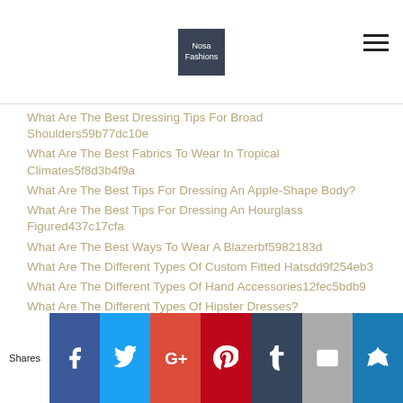Nosa Fashions
What Are The Best Dressing Tips For Broad Shoulders59b77dc10e
What Are The Best Fabrics To Wear In Tropical Climates5f8d3b4f9a
What Are The Best Tips For Dressing An Apple-Shape Body?
What Are The Best Tips For Dressing An Hourglass Figured437c17cfa
What Are The Best Ways To Wear A Blazerbf5982183d
What Are The Different Types Of Custom Fitted Hatsdd9f254eb3
What Are The Different Types Of Hand Accessories12fec5bdb9
What Are The Different Types Of Hipster Dresses?
Shares | Facebook | Twitter | Google+ | Pinterest | Tumblr | Email | Crown